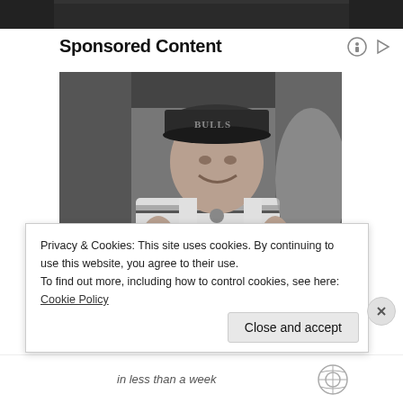[Figure (photo): Top cropped image strip showing dark background]
Sponsored Content
[Figure (photo): Black and white photo of a smiling man wearing a Chicago Bulls basketball jersey and a cap, at what appears to be an event or party]
Privacy & Cookies: This site uses cookies. By continuing to use this website, you agree to their use.
To find out more, including how to control cookies, see here: Cookie Policy
Close and accept
in less than a week